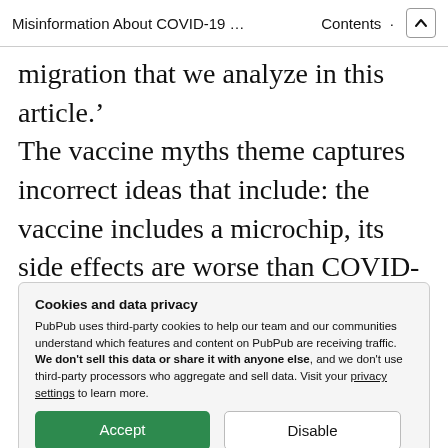Misinformation About COVID-19 … Contents ↑
migration that we analyze in this article.' The vaccine myths theme captures incorrect ideas that include: the vaccine includes a microchip, its side effects are worse than COVID-19 itself, and it can alter someone's DNA. The miracle cure theme includes mentions of miracle droplets, miracle cure, and Carvativir, for example,
Cookies and data privacy
PubPub uses third-party cookies to help our team and our communities understand which features and content on PubPub are receiving traffic. We don't sell this data or share it with anyone else, and we don't use third-party processors who aggregate and sell data. Visit your privacy settings to learn more.
[Accept] [Disable]
and Táchira, a Venezuelan/Colombian